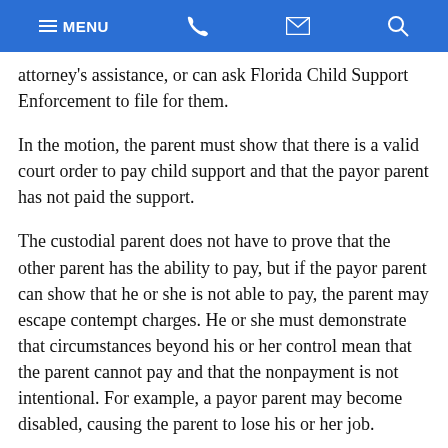MENU [phone] [email] [search]
attorney's assistance, or can ask Florida Child Support Enforcement to file for them.
In the motion, the parent must show that there is a valid court order to pay child support and that the payor parent has not paid the support.
The custodial parent does not have to prove that the other parent has the ability to pay, but if the payor parent can show that he or she is not able to pay, the parent may escape contempt charges. He or she must demonstrate that circumstances beyond his or her control mean that the parent cannot pay and that the nonpayment is not intentional. For example, a payor parent may become disabled, causing the parent to lose his or her job.
en, at a hearing, the judge will decide whether the payor parent is in contempt of court. If the court does find that the parent is in contempt, it will order a payment plan, specifying how and when to pay the past due support. It can